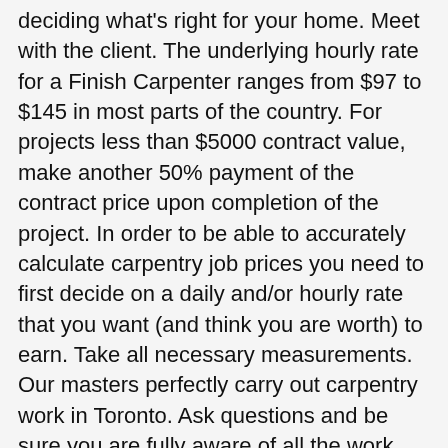deciding what's right for your home. Meet with the client. The underlying hourly rate for a Finish Carpenter ranges from $97 to $145 in most parts of the country. For projects less than $5000 contract value, make another 50% payment of the contract price upon completion of the project. In order to be able to accurately calculate carpentry job prices you need to first decide on a daily and/or hourly rate that you want (and think you are worth) to earn. Take all necessary measurements. Our masters perfectly carry out carpentry work in Toronto. Ask questions and be sure you are fully aware of all the work that needs to be done. How long does it usually take to outfit an HDB flat with custom carpentry? Assumes that customer is providing own shed, and concrete base is in place. Normally when I used to get it wrong it was by underpricing too, which is the worst thing! Understand everything that the client wants, and write down any specifics. Construct a garden fence with 10 panels (6m x 5m), including posts and capping. What is a carpenter's hourly rate? The average cost of shelving built into an alcove is £600. = per cubic